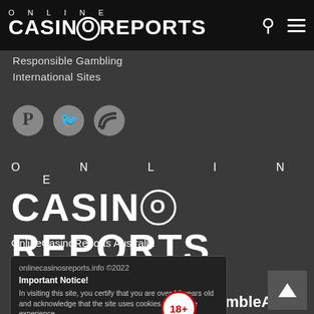ONLINE CASINOREPORTS
Responsible Gambling
International Sites
[Figure (logo): Social media icons: Pinterest, Twitter, RSS feed]
[Figure (logo): OnlineCasinoReports large logo with ONLINE on top and CASINOREPORTS below]
OnlineCasinoReports Australia
onlinecasinosreports.info ©2022
Important Notice! In visiting this site, you certify that you are over 18 years old and acknowledge that the site uses cookies to improve experience.
Read more
[Figure (other): Download on the App Store green button]
[Figure (other): 18+ age restriction badge - red circle with 18+ text]
BeGambleAware